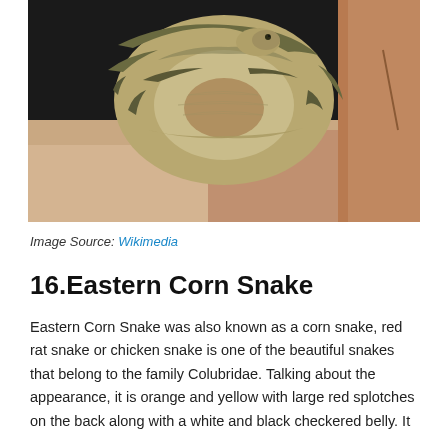[Figure (photo): A coiled snake with tan/olive and dark brown striped patterning resting on a pinkish-tan rock, with a black background and rocky surface behind it.]
Image Source: Wikimedia
16.Eastern Corn Snake
Eastern Corn Snake was also known as a corn snake, red rat snake or chicken snake is one of the beautiful snakes that belong to the family Colubridae. Talking about the appearance, it is orange and yellow with large red splotches on the back along with a white and black checkered belly. It